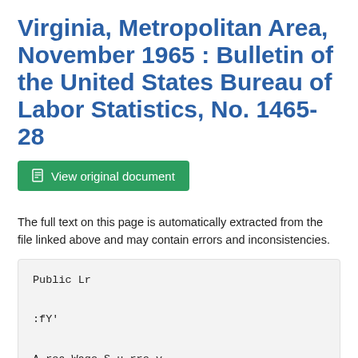Virginia, Metropolitan Area, November 1965 : Bulletin of the United States Bureau of Labor Statistics, No. 1465-28
View original document
The full text on this page is automatically extracted from the file linked above and may contain errors and inconsistencies.
Public Lr

:fY'

A rea Wage S u rre y